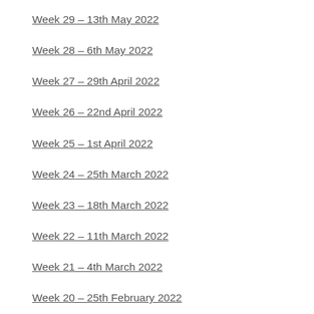Week 29 – 13th May 2022
Week 28 – 6th May 2022
Week 27 – 29th April 2022
Week 26 – 22nd April 2022
Week 25 – 1st April 2022
Week 24 – 25th March 2022
Week 23 – 18th March 2022
Week 22 – 11th March 2022
Week 21 – 4th March 2022
Week 20 – 25th February 2022
Week 19 – 11th February 2022